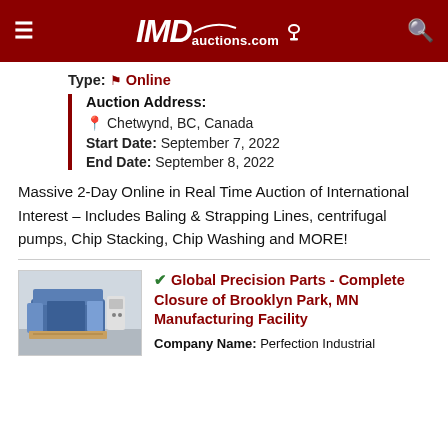IMDauctions.com
Type: ⚒ Online
Auction Address:
● Chetwynd, BC, Canada
Start Date: September 7, 2022
End Date: September 8, 2022
Massive 2-Day Online in Real Time Auction of International Interest – Includes Baling & Strapping Lines, centrifugal pumps, Chip Stacking, Chip Washing and MORE!
[Figure (photo): Photo of industrial CNC machine in a warehouse setting, blue and grey colored machine on a wooden pallet.]
✓ Global Precision Parts - Complete Closure of Brooklyn Park, MN Manufacturing Facility
Company Name: Perfection Industrial